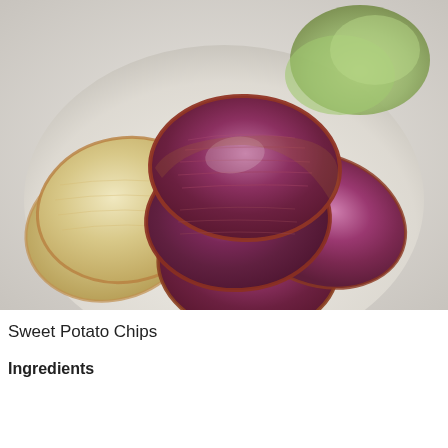[Figure (photo): A white plate with purple/dark red sweet potato chips stacked in the center and pale golden regular potato chips on the left side, with a green vegetable visible in the background upper right.]
Sweet Potato Chips
Ingredients